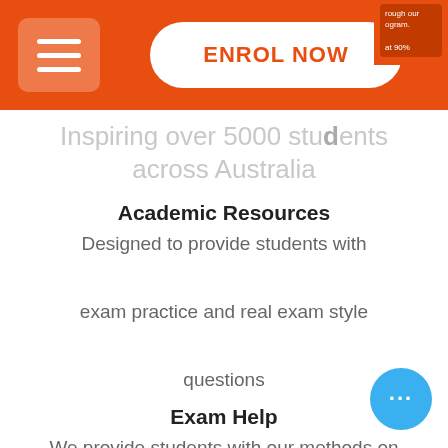[Figure (screenshot): Orange navigation bar with hamburger menu icon on left and ENROL NOW button in center, with a partially visible corner badge on the right]
Inspiring over 5000 students across Australia
Academic Resources
Designed to provide students with exam practice and real exam style questions
Exam Help
We provide students with our methods on how to execute exams in the most effective way possible!
Study Help
Using proven study techniques, our tutors